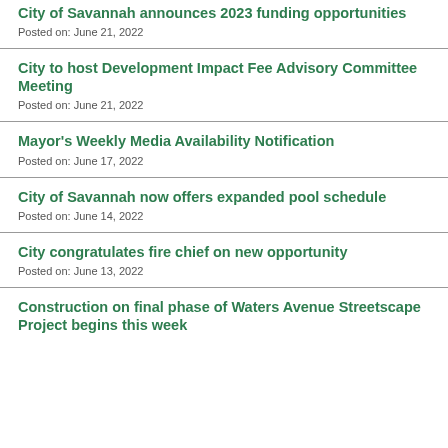City of Savannah announces 2023 funding opportunities
Posted on: June 21, 2022
City to host Development Impact Fee Advisory Committee Meeting
Posted on: June 21, 2022
Mayor's Weekly Media Availability Notification
Posted on: June 17, 2022
City of Savannah now offers expanded pool schedule
Posted on: June 14, 2022
City congratulates fire chief on new opportunity
Posted on: June 13, 2022
Construction on final phase of Waters Avenue Streetscape Project begins this week